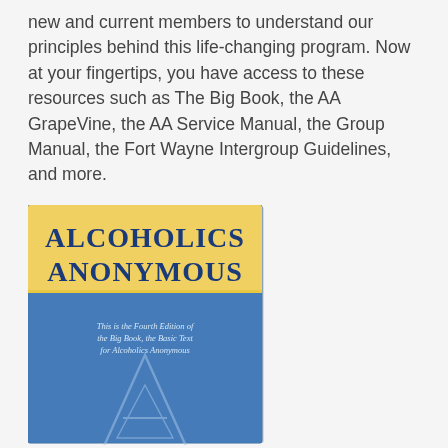new and current members to understand our principles behind this life-changing program. Now at your fingertips, you have access to these resources such as The Big Book, the AA GrapeVine, the AA Service Manual, the Group Manual, the Fort Wayne Intergroup Guidelines, and more.
[Figure (photo): Book cover of Alcoholics Anonymous (The Big Book), Fourth Edition. Top portion has a yellow/gold background with dark blue bold text reading 'ALCOHOLICS ANONYMOUS'. Bottom portion has a blue textured background with italic text reading 'This is the Fourth Edition of the Big Book, the Basic Text for Alcoholics Anonymous' and a stylized 'AA' logo.]